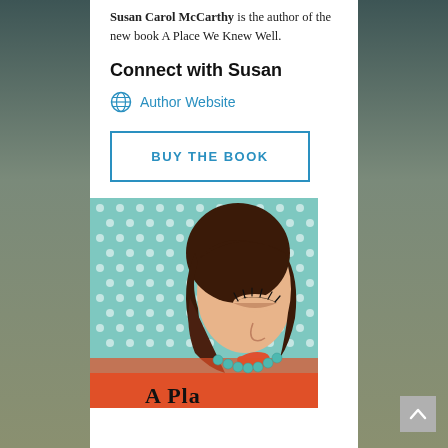Susan Carol McCarthy is the author of the new book A Place We Knew Well.
Connect with Susan
Author Website
BUY THE BOOK
[Figure (photo): Book cover of 'A Place We Knew Well' showing a stylized illustration of a woman with dark hair, wearing an orange dress and turquoise bead necklace, with a teal polka-dot background.]